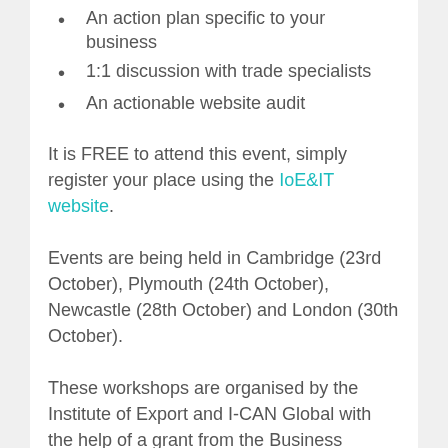An action plan specific to your business
1:1 discussion with trade specialists
An actionable website audit
It is FREE to attend this event, simply register your place using the IoE&IT website.
Events are being held in Cambridge (23rd October), Plymouth (24th October), Newcastle (28th October) and London (30th October).
These workshops are organised by the Institute of Export and I-CAN Global with the help of a grant from the Business Readiness Fund whose objective is to fund